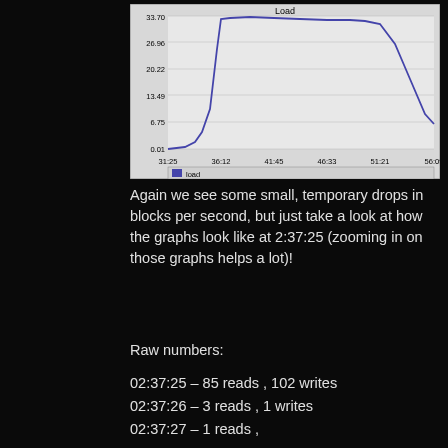[Figure (continuous-plot): Line chart titled 'Load' showing load values over time from approximately 31:25 to 56:09. Y-axis values: 0.01, 6.75, 13.49, 20.22, 26.96, 33.70. The line starts low (~0.01) at 31:25, rises steeply to ~33.70 around 36:12, stays high (~31-33) through 51:21, then drops sharply toward ~6.75 at 56:09.]
Again we see some small, temporary drops in blocks per second, but just take a look at how the graphs look like at 2:37:25 (zooming in on those graphs helps a lot)!
Raw numbers:
02:37:25 – 85 reads , 102 writes
02:37:26 – 3 reads , 1 writes
02:37:27 – 1 reads ,